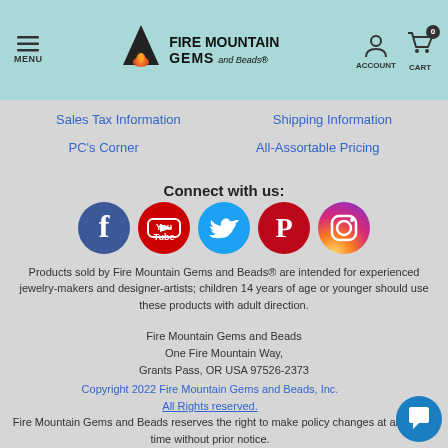Fire Mountain Gems and Beads - MENU | ACCOUNT | CART 0
Sales Tax Information
Shipping Information
PC's Corner
All-Assortable Pricing
Connect with us:
[Figure (infographic): Five social media icons: Facebook (blue circle with f), YouTube (red circle with play/tube logo), Twitter (teal circle with bird), Pinterest (red circle with P), Instagram (gradient circle with camera)]
Products sold by Fire Mountain Gems and Beads® are intended for experienced jewelry-makers and designer-artists; children 14 years of age or younger should use these products with adult direction.
Fire Mountain Gems and Beads
One Fire Mountain Way,
Grants Pass, OR USA 97526-2373
Copyright 2022 Fire Mountain Gems and Beads, Inc.
All Rights reserved.
Fire Mountain Gems and Beads reserves the right to make policy changes at any time without prior notice.